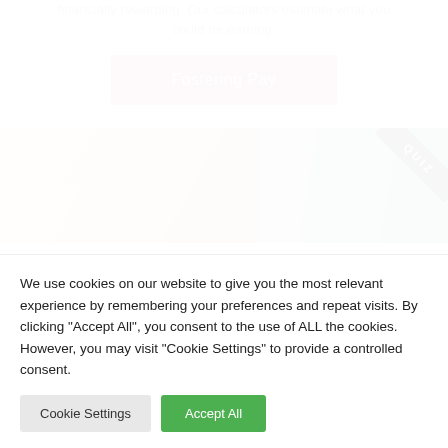financially rewarding. Our calculators estimate what you could be earning.
Fostering Pay
[Figure (photo): Close-up photo of a young child with blonde hair, with a 'QUIZ' diagonal banner in the top-right corner]
We use cookies on our website to give you the most relevant experience by remembering your preferences and repeat visits. By clicking "Accept All", you consent to the use of ALL the cookies. However, you may visit "Cookie Settings" to provide a controlled consent.
Cookie Settings
Accept All